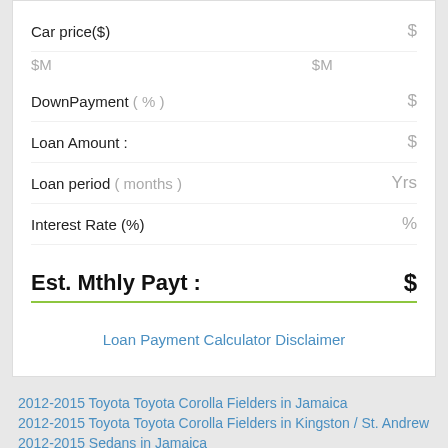Car price($)
$M    $M
DownPayment ( % )
Loan Amount :
Loan period ( months )
Interest Rate (%)
Est. Mthly Payt :   $
Loan Payment Calculator Disclaimer
2012-2015 Toyota Toyota Corolla Fielders in Jamaica
2012-2015 Toyota Toyota Corolla Fielders in Kingston / St. Andrew
2012-2015 Sedans in Jamaica